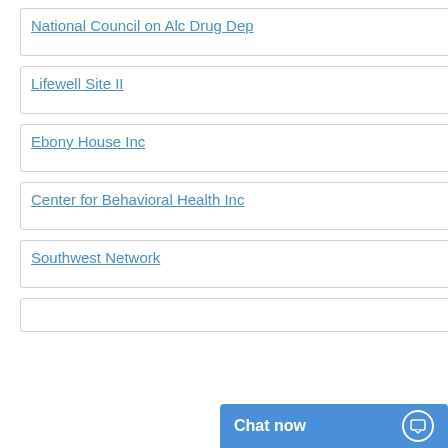National Council on Alc Drug Dep
Lifewell Site II
Ebony House Inc
Center for Behavioral Health Inc
Southwest Network
[Figure (screenshot): Chat now button overlay in blue with chat bubble icon]